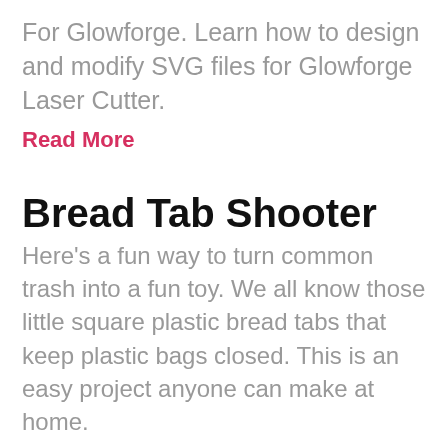For Glowforge. Learn how to design and modify SVG files for Glowforge Laser Cutter.
Read More
Bread Tab Shooter
Here’s a fun way to turn common trash into a fun toy. We all know those little square plastic bread tabs that keep plastic bags closed. This is an easy project anyone can make at home.
Read More
Making in S...